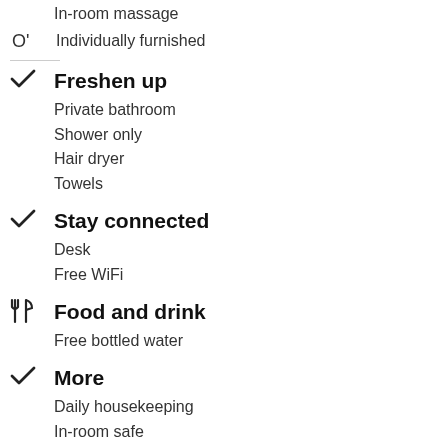In-room massage
Individually furnished
Freshen up
Private bathroom
Shower only
Hair dryer
Towels
Stay connected
Desk
Free WiFi
Food and drink
Free bottled water
More
Daily housekeeping
In-room safe